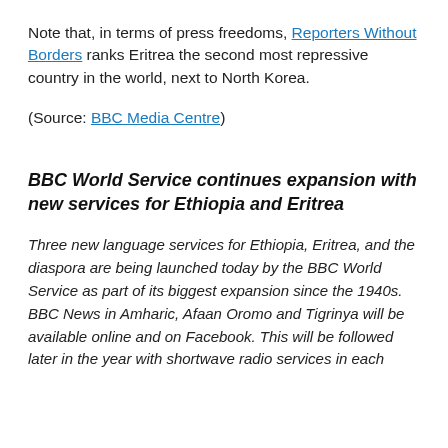Note that, in terms of press freedoms, Reporters Without Borders ranks Eritrea the second most repressive country in the world, next to North Korea.
(Source: BBC Media Centre)
BBC World Service continues expansion with new services for Ethiopia and Eritrea
Three new language services for Ethiopia, Eritrea, and the diaspora are being launched today by the BBC World Service as part of its biggest expansion since the 1940s.
BBC News in Amharic, Afaan Oromo and Tigrinya will be available online and on Facebook. This will be followed later in the year with shortwave radio services in each